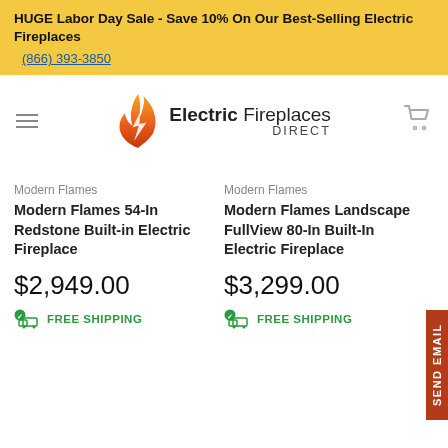HUGE Labor Day Sale - Save 10% On Our Best-Selling Electric Fireplaces
(866) 393-3850
[Figure (logo): Electric Fireplaces Direct logo with orange flame icon]
Modern Flames
Modern Flames 54-In Redstone Built-in Electric Fireplace
$2,949.00
FREE SHIPPING
Modern Flames
Modern Flames Landscape FullView 80-In Built-In Electric Fireplace
$3,299.00
FREE SHIPPING